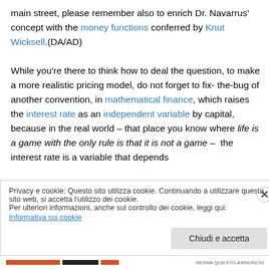main street, please remember also to enrich Dr. Navarrus' concept with the money functions conferred by Knut Wicksell.(DA/AD)

While you're there to think how to deal the question, to make a more realistic pricing model, do not forget to fix-the-bug of another convention, in mathematical finance, which raises the interest rate as an independent variable by capital,  because in the real world – that place you know where life is a game with the only rule is that it is not a game –  the interest rate is a variable that depends
Privacy e cookie: Questo sito utilizza cookie. Continuando a utilizzare questo sito web, si accetta l'utilizzo dei cookie.
Per ulteriori informazioni, anche sul controllo dei cookie, leggi qui:
Informativa sui cookie
Chiudi e accetta